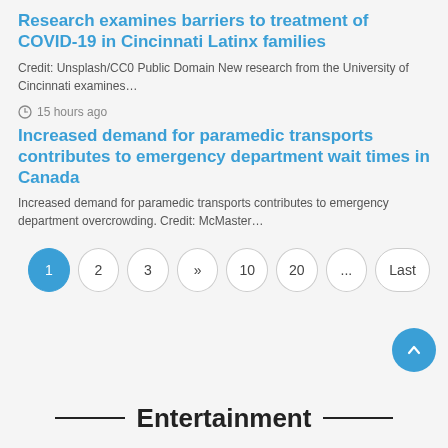Research examines barriers to treatment of COVID-19 in Cincinnati Latinx families
Credit: Unsplash/CC0 Public Domain New research from the University of Cincinnati examines…
⊙ 15 hours ago
Increased demand for paramedic transports contributes to emergency department wait times in Canada
Increased demand for paramedic transports contributes to emergency department overcrowding. Credit: McMaster…
Pagination: 1, 2, 3, », 10, 20, ..., Last
Entertainment